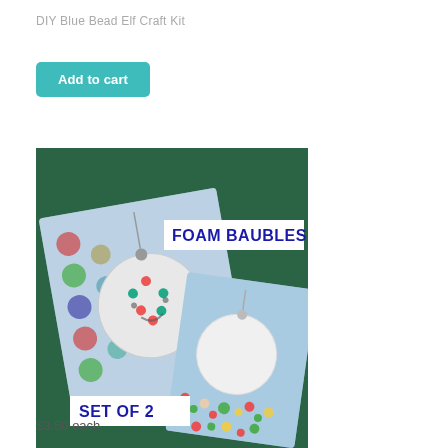DIY Blue Bead Elf Craft Kit
Add to cart
[Figure (photo): Product photo on dark green background showing two images: left image shows a completed foam bauble decorated with sequins on a patterned fabric, right image shows a plain white foam bauble with loose sequins/beads. Text labels 'FOAM BAUBLES' and 'SET OF 2' are overlaid on the green background.]
FOAM SEQUIN BAUBLE KIT – SET OF 2
$3.50 each